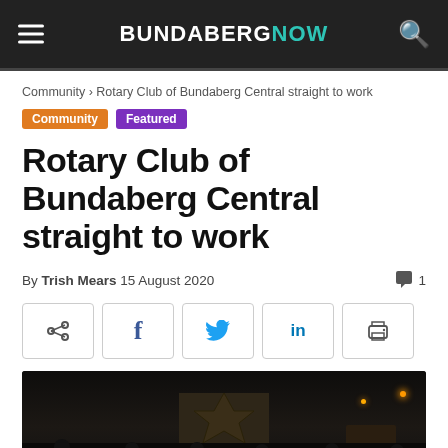BUNDABERGNOW
Community › Rotary Club of Bundaberg Central straight to work
Community  Featured
Rotary Club of Bundaberg Central straight to work
By Trish Mears 15 August 2020  💬 1
[Figure (photo): Group of people standing outside at night in front of a building with Bundaberg signage]
[Figure (other): Share buttons row: share, facebook, twitter, linkedin, print]